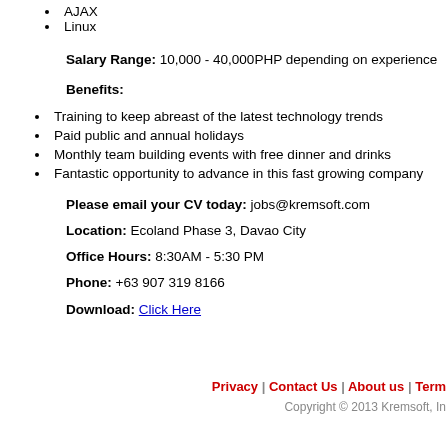AJAX
Linux
Salary Range: 10,000 - 40,000PHP depending on experience
Benefits:
Training to keep abreast of the latest technology trends
Paid public and annual holidays
Monthly team building events with free dinner and drinks
Fantastic opportunity to advance in this fast growing company
Please email your CV today: jobs@kremsoft.com
Location: Ecoland Phase 3, Davao City
Office Hours: 8:30AM - 5:30 PM
Phone: +63 907 319 8166
Download: Click Here
Privacy | Contact Us | About us | Term
Copyright © 2013 Kremsoft, In